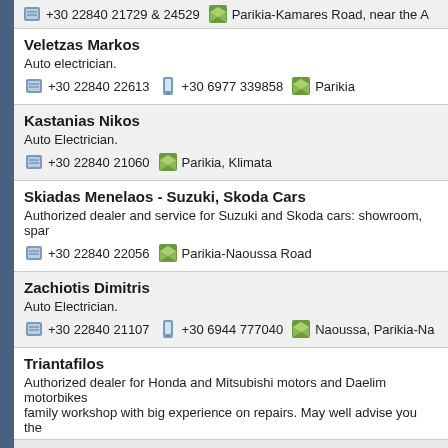+30 22840 21729 & 24529 | Parikia-Kamares Road, near the A
Veletzas Markos
Auto electrician.
+30 22840 22613  +30 6977 339858  Parikia
Kastanias Nikos
Auto Electrician.
+30 22840 21060  Parikia, Klimata
Skiadas Menelaos - Suzuki, Skoda Cars
Authorized dealer and service for Suzuki and Skoda cars: showroom, spar
+30 22840 22056  Parikia-Naoussa Road
Zachiotis Dimitris
Auto Electrician.
+30 22840 21107  +30 6944 777040  Naoussa, Parikia-Na
Triantafilos
Authorized dealer for Honda and Mitsubishi motors and Daelim motorbikes family workshop with big experience on repairs. May well advise you the